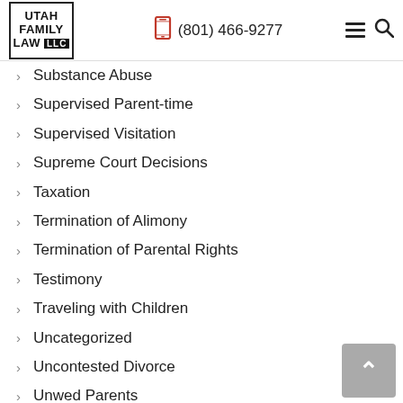Utah Family Law LLC | (801) 466-9277
Substance Abuse
Supervised Parent-time
Supervised Visitation
Supreme Court Decisions
Taxation
Termination of Alimony
Termination of Parental Rights
Testimony
Traveling with Children
Uncategorized
Uncontested Divorce
Unwed Parents
Utah
Utah Code
Utah Court of Appeals Decisions
Utah Court Rules